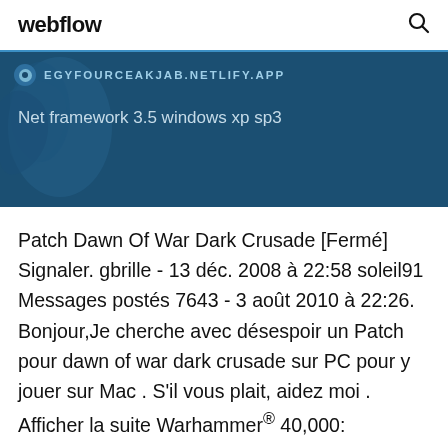webflow
[Figure (screenshot): Dark blue banner with a favicon, URL 'EGYFOURCEAKJAB.NETLIFY.APP' and title 'Net framework 3.5 windows xp sp3' overlaid on a blue map background]
Patch Dawn Of War Dark Crusade [Fermé] Signaler. gbrille - 13 déc. 2008 à 22:58 soleil91 Messages postés 7643 - 3 août 2010 à 22:26. Bonjour,Je cherche avec désespoir un Patch pour dawn of war dark crusade sur PC pour y jouer sur Mac . S'il vous plait, aidez moi . Afficher la suite Warhammer® 40,000: